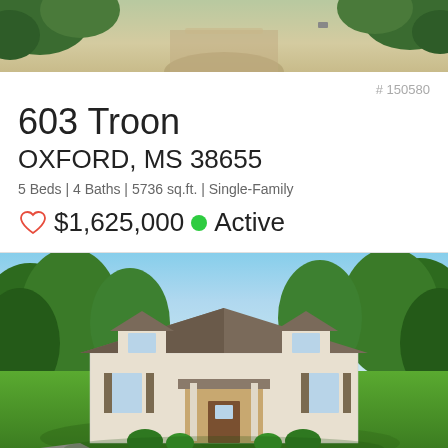[Figure (photo): Aerial/road view photo at top of page, partial crop showing a road with trees]
# 150580
603 Troon
OXFORD, MS 38655
5 Beds | 4 Baths | 5736 sq.ft. | Single-Family
♡ $1,625,000 ● Active
[Figure (photo): Exterior photo of a large single-family home with stone facade, dormer windows, front porch, surrounded by green lawn and trees]
# 148958